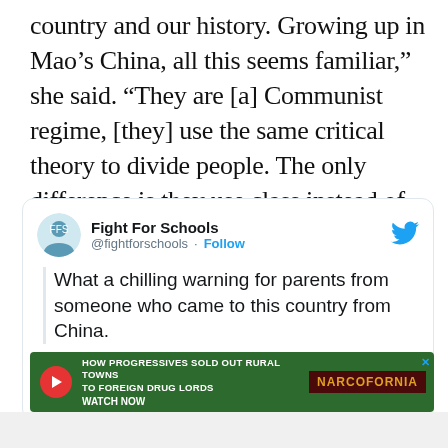country and our history. Growing up in Mao's China, all this seems familiar,” she said. “They are [a] Communist regime, [they] use the same critical theory to divide people. The only difference is they use class instead of race.”
[Figure (screenshot): Embedded tweet from @fightforschools (Fight For Schools) with text: 'What a chilling warning for parents from someone who came to this country from China.' with a partial video thumbnail and a Twitter bird logo. Below the tweet is an advertisement banner for 'Narcofornia' with text 'HOW PROGRESSIVES SOLD OUT RURAL TOWNS TO FOREIGN DRUG LORDS' and a WATCH NOW button.]